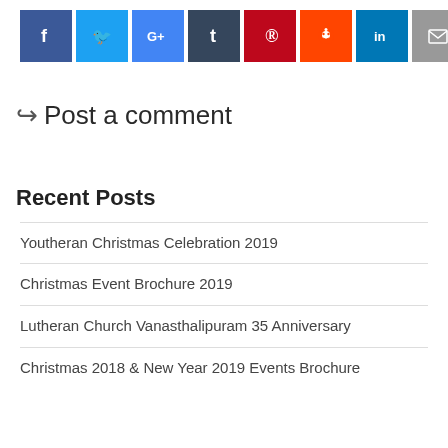[Figure (infographic): Row of social media share buttons: Facebook (blue), Twitter (light blue), Google+ (blue), Tumblr (dark navy), Pinterest (red), Reddit (orange), LinkedIn (blue), Email (gray)]
↪ Post a comment
Recent Posts
Youtheran Christmas Celebration 2019
Christmas Event Brochure 2019
Lutheran Church Vanasthalipuram 35 Anniversary
Christmas 2018 & New Year 2019 Events Brochure